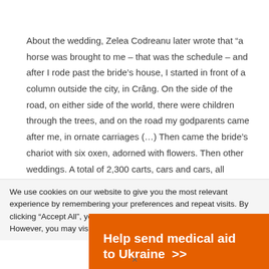About the wedding, Zelea Codreanu later wrote that “a horse was brought to me – that was the schedule – and after I rode past the bride’s house, I started in front of a column outside the city, in Crâng. On the side of the road, on either side of the world, there were children through the trees, and on the road my godparents came after me, in ornate carriages (…) Then came the bride’s chariot with six oxen, adorned with flowers. Then other weddings. A total of 2,300 carts, cars and cars, all loaded with flowers and people dressed in national costumes. I had reached 7 km. of the
We use cookies on our website to give you the most relevant experience by remembering your preferences and repeat visits. By clicking “Accept All”, you consent to the use of ALL the cookies. However, you may visit “Cookie Settings” to
[Figure (infographic): Orange advertisement banner for Direct Relief reading 'Help send medical aid to Ukraine >>' with Direct Relief logo (white bird/envelope icon and text) on the right side.]